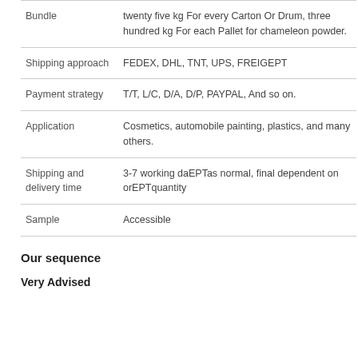| Bundle | twenty five kg For every Carton Or Drum, three hundred kg For each Pallet for chameleon powder. |
| Shipping approach | FEDEX, DHL, TNT, UPS, FREIGEPT |
| Payment strategy | T/T, L/C, D/A, D/P, PAYPAL, And so on. |
| Application | Cosmetics, automobile painting, plastics, and many others. |
| Shipping and delivery time | 3-7 working daEPTas normal, final dependent on orEPTquantity |
| Sample | Accessible |
Our sequence
Very Advised